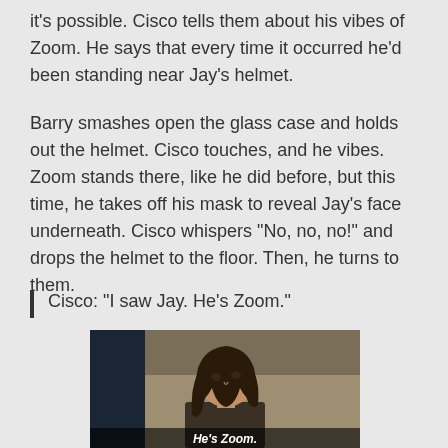it's possible. Cisco tells them about his vibes of Zoom. He says that every time it occurred he'd been standing near Jay's helmet.
Barry smashes open the glass case and holds out the helmet. Cisco touches, and he vibes. Zoom stands there, like he did before, but this time, he takes off his mask to reveal Jay's face underneath. Cisco whispers "No, no, no!" and drops the helmet to the floor. Then, he turns to them.
Cisco: "I saw Jay. He's Zoom."
[Figure (photo): Screenshot from a TV show showing a young woman with long dark hair looking upward in a dimly lit room. White subtitle text reads 'He's Zoom.' at the bottom.]